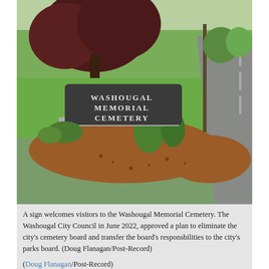[Figure (photo): Entrance sign for Washougal Memorial Cemetery with red-leafed tree, green lawn, mulch bed, and a road visible in the background.]
A sign welcomes visitors to the Washougal Memorial Cemetery. The Washougal City Council in June 2022, approved a plan to eliminate the city's cemetery board and transfer the board's responsbilities to the city's parks board. (Doug Flanagan/Post-Record)

(Doug Flanagan/Post-Record)
The Washougal City Council's recent decision to eliminate the city's cemetery board came to a great shock to that board's president, Micki Mulder.
“We had held a meeting not two weeks prior and staff made no mention of this,” Mulder said days after the council voted unanimously to eliminate the cemetery board and roll its duties under the umbrella of the city’s parks board, now known as the Board of Park and Cemetery